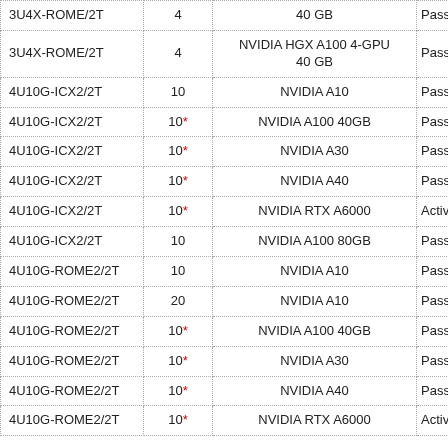| Model | GPUs | GPU Type | Cooling |
| --- | --- | --- | --- |
| 3U4X-ROME/2T | 4 | NVIDIA HGX A100 4-GPU 40 GB | Passi… |
| 3U4X-ROME/2T | 4 | NVIDIA HGX A100 4-GPU 40 GB | Passi… |
| 4U10G-ICX2/2T | 10 | NVIDIA A10 | Passi… |
| 4U10G-ICX2/2T | 10* | NVIDIA A100 40GB | Passi… |
| 4U10G-ICX2/2T | 10* | NVIDIA A30 | Passi… |
| 4U10G-ICX2/2T | 10* | NVIDIA A40 | Passi… |
| 4U10G-ICX2/2T | 10* | NVIDIA RTX A6000 | Active |
| 4U10G-ICX2/2T | 10 | NVIDIA A100 80GB | Passi… |
| 4U10G-ROME2/2T | 10 | NVIDIA A10 | Passi… |
| 4U10G-ROME2/2T | 20 | NVIDIA A10 | Passi… |
| 4U10G-ROME2/2T | 10* | NVIDIA A100 40GB | Passi… |
| 4U10G-ROME2/2T | 10* | NVIDIA A30 | Passi… |
| 4U10G-ROME2/2T | 10* | NVIDIA A40 | Passi… |
| 4U10G-ROME2/2T | 10* | NVIDIA RTX A6000 | Active |